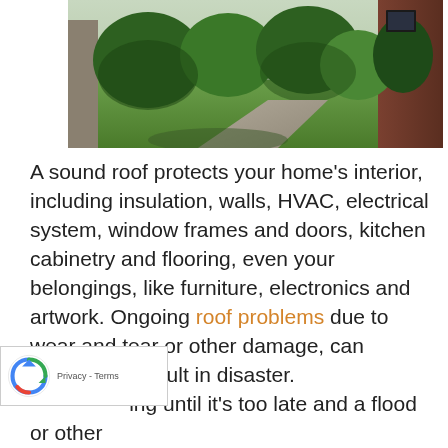[Figure (photo): Exterior view of a brick home with green lawn, driveway, and surrounding trees and shrubs.]
A sound roof protects your home’s interior, including insulation, walls, HVAC, electrical system, window frames and doors, kitchen cabinetry and flooring, even your belongings, like furniture, electronics and artwork. Ongoing roof problems due to wear and tear or other damage, can sometimes result in disaster. …ing until it’s too late and a flood or other …e occurs, will only increase the cost of replacing the roof and restoring your home